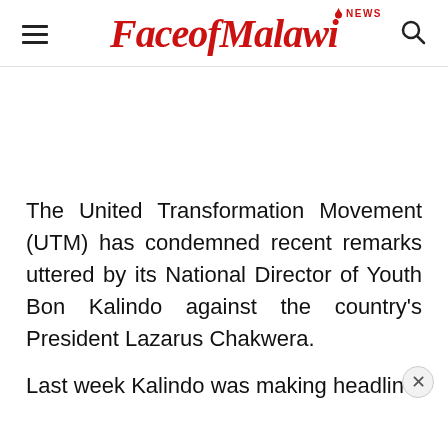FaceofMalawi NEWS
The United Transformation Movement (UTM) has condemned recent remarks uttered by its National Director of Youth Bon Kalindo against the country's President Lazarus Chakwera.
Last week Kalindo was making headline